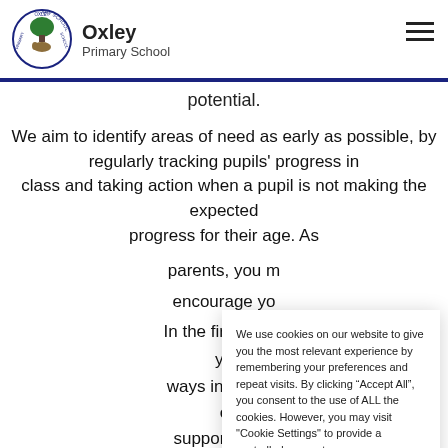Oxley Primary School
potential.
We aim to identify areas of need as early as possible, by regularly tracking pupils' progress in class and taking action when a pupil is not making the expected progress for their age. As
parents, you m
encourage yo
In the first instar
yo
ways in which th
c
support in cla
provided, depending on the individual
We use cookies on our website to give you the most relevant experience by remembering your preferences and repeat visits. By clicking “Accept All”, you consent to the use of ALL the cookies. However, you may visit "Cookie Settings" to provide a controlled consent.